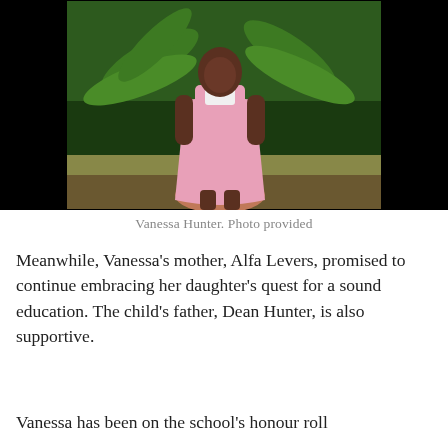[Figure (photo): A young girl in a pink school dress/uniform standing outdoors in front of a palm tree. The background is mostly dark/black with the photo centered.]
Vanessa Hunter. Photo provided
Meanwhile, Vanessa's mother, Alfa Levers, promised to continue embracing her daughter's quest for a sound education. The child's father, Dean Hunter, is also supportive.
Vanessa has been on the school's honour roll